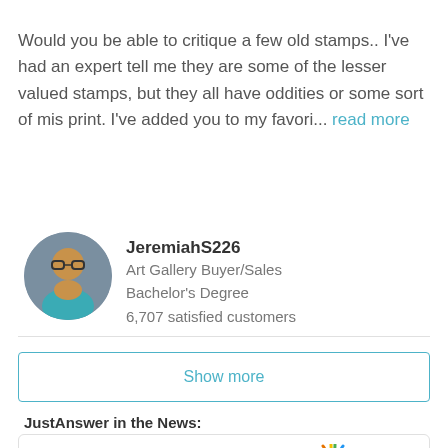Would you be able to critique a few old stamps.. I've had an expert tell me they are some of the lesser valued stamps, but they all have oddities or some sort of mis print. I've added you to my favori... read more
[Figure (photo): Circular profile photo of JeremiahS226, a man wearing glasses]
JeremiahS226
Art Gallery Buyer/Sales
Bachelor's Degree
6,707 satisfied customers
Show more
JustAnswer in the News:
[Figure (logo): CNN logo in red and NBC peacock logo]